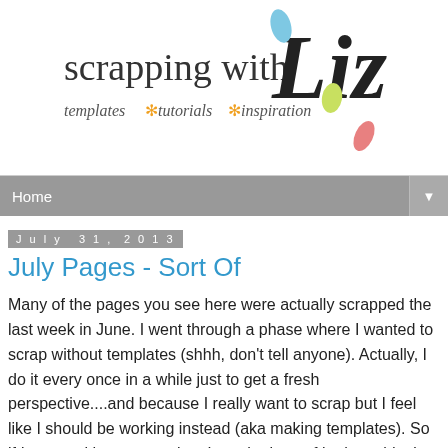scrapping with Liz — templates * tutorials * inspiration
Home
July 31, 2013
July Pages - Sort Of
Many of the pages you see here were actually scrapped the last week in June. I went through a phase where I wanted to scrap without templates (shhh, don't tell anyone). Actually, I do it every once in a while just to get a fresh perspective....and because I really want to scrap but I feel like I should be working instead (aka making templates). So if I scrap without a template I get the best of both worlds. I get to scrap and then I can turn it into a template